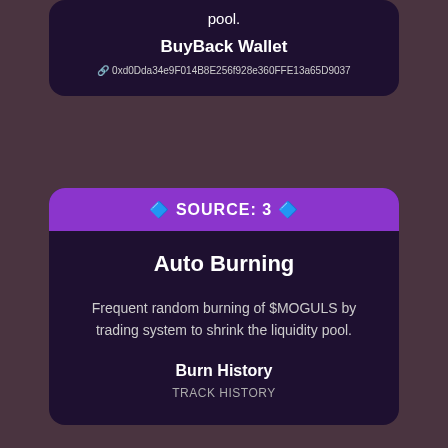pool.
BuyBack Wallet
🔗 0xd0Dda34e9F014B8E256f928e360FFE13a65D9037
🔷 SOURCE: 3 🔷
Auto Burning
Frequent random burning of $MOGULS by trading system to shrink the liquidity pool.
Burn History
TRACK HISTORY